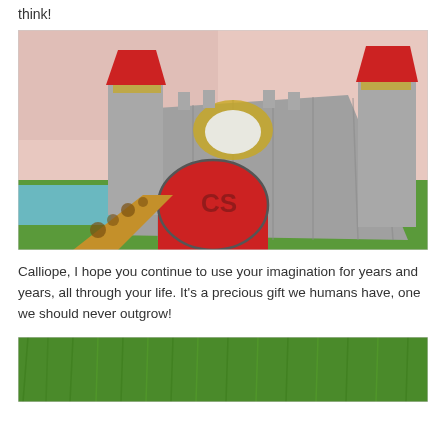think!
[Figure (photo): A felt craft castle with gray walls, red turrets with gold trim at the top, a red arched doorway with 'CS' lettered on it, set on a green felt lawn with a leopard-print path, and a pink/white background]
Calliope, I hope you continue to use your imagination for years and years, all through your life. It’s a precious gift we humans have, one we should never outgrow!
[Figure (photo): Green grass/lawn felt material, partially visible at bottom of page]